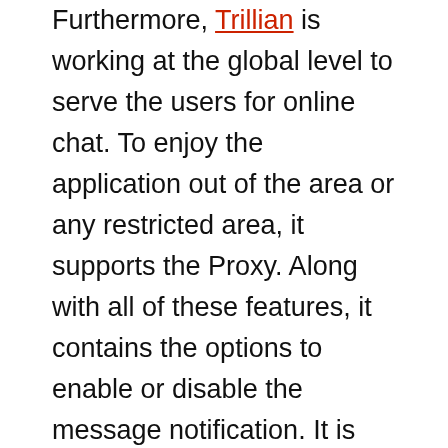Furthermore, Trillian is working at the global level to serve the users for online chat. To enjoy the application out of the area or any restricted area, it supports the Proxy. Along with all of these features, it contains the options to enable or disable the message notification. It is possible to also install this application from our site just click on provided below link as well as install this application on your program and take pleasure in this gorgeous functions and features.
There are tons of emoticons you can play with (smiley faces, objects, and symbols), and some of them are compatible with Yahoo! Messenger. The chat history is better organized than in typical instant messengers because here you can actually select a date from the calendar to access a conversation, as well as view any